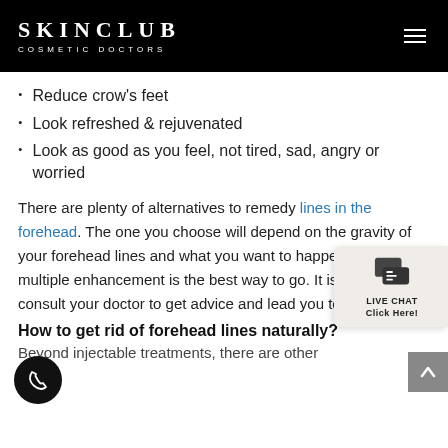SKINCLUB COSMETIC DOCTORS
Reduce crow’s feet
Look refreshed & rejuvenated
Look as good as you feel, not tired, sad, angry or worried
There are plenty of alternatives to remedy lines in the forehead. The one you choose will depend on the gravity of your forehead lines and what you want to happen. For some, multiple enhancement is the best way to go. It is best to consult your doctor to get advice and lead you to the best path
How to get rid of forehead lines naturally?
Beyond injectable treatments, there are other